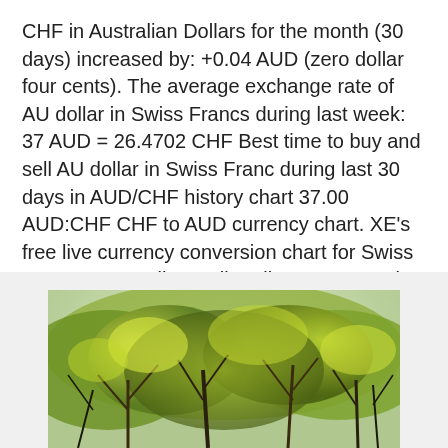CHF in Australian Dollars for the month (30 days) increased by: +0.04 AUD (zero dollar four cents). The average exchange rate of AU dollar in Swiss Francs during last week: 37 AUD = 26.4702 CHF Best time to buy and sell AU dollar in Swiss Franc during last 30 days in AUD/CHF history chart 37.00 AUD:CHF CHF to AUD currency chart. XE's free live currency conversion chart for Swiss Franc to Australian Dollar allows you to pair exchange rate history for up to 10 years.
[Figure (photo): Photo of green leafy trees or shrubs with yellow-green foliage, appearing to be an outdoor nature scene.]